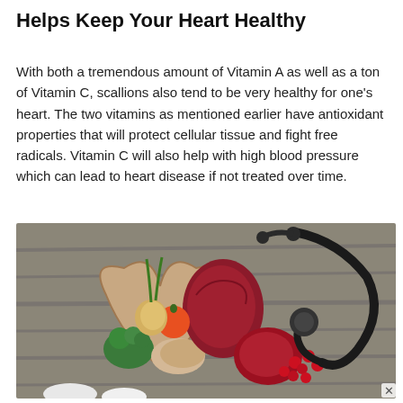Helps Keep Your Heart Healthy
With both a tremendous amount of Vitamin A as well as a ton of Vitamin C, scallions also tend to be very healthy for one's heart. The two vitamins as mentioned earlier have antioxidant properties that will protect cellular tissue and fight free radicals. Vitamin C will also help with high blood pressure which can lead to heart disease if not treated over time.
[Figure (photo): A heart-shaped wooden bowl filled with various vegetables and foods including broccoli, onions, tomatoes, red onion, cranberries, and grains, placed on a wooden surface next to a stethoscope.]